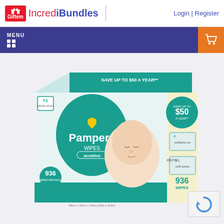Giftem IncrediBundles | Login | Register
[Figure (screenshot): Navigation bar with MENU button (dark navy background, white text and icons) and shopping cart icon on orange background on the right]
[Figure (photo): Pampers Sensitive Baby Wipes product box, 936 count, teal/white packaging with baby photo. Text shows 'SAVE UP TO $50 A YEAR'. Box features Pampers logo with heart shape, 'WIPES sensitive' label, '#1' badge, and '936 WIPES' count label on right panel.]